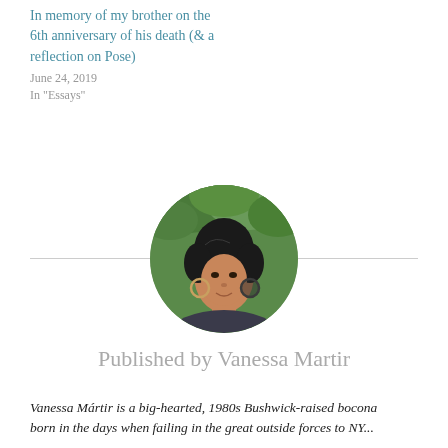In memory of my brother on the 6th anniversary of his death (& a reflection on Pose)
June 24, 2019
In "Essays"
[Figure (photo): Circular portrait photo of Vanessa Martir, a woman with dark hair pulled back, wearing large hoop earrings, photographed outdoors with green foliage background, smiling slightly.]
Published by Vanessa Martir
Vanessa Mártir is a big-hearted, 1980s Bushwick-raised bocona born in the days when failing in the great outside forces to NY...